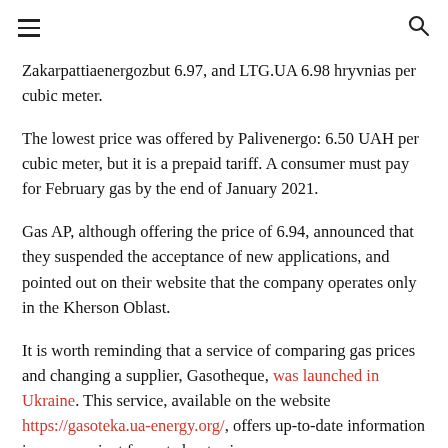≡  🔍
Zakarpattiaenergozbut 6.97, and LTG.UA 6.98 hryvnias per cubic meter.
The lowest price was offered by Palivenergo: 6.50 UAH per cubic meter, but it is a prepaid tariff. A consumer must pay for February gas by the end of January 2021.
Gas AP, although offering the price of 6.94, announced that they suspended the acceptance of new applications, and pointed out on their website that the company operates only in the Kherson Oblast.
It is worth reminding that a service of comparing gas prices and changing a supplier, Gasotheque, was launched in Ukraine. This service, available on the website https://gasoteka.ua-energy.org/, offers up-to-date information in a convenient format about price